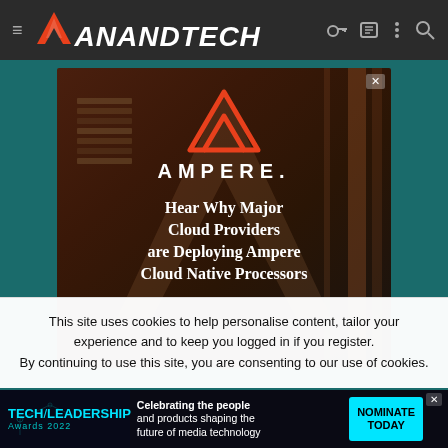AnandTech navigation bar with logo and icons
[Figure (screenshot): Ampere advertisement banner showing the Ampere triangle logo, company name 'AMPERE.' and text 'Hear Why Major Cloud Providers are Deploying Ampere Cloud Native Processors' on a dark brown/red background. Has an X close button.]
This site uses cookies to help personalise content, tailor your experience and to keep you logged in if you register.
By continuing to use this site, you are consenting to our use of cookies.
[Figure (screenshot): Bottom advertisement banner for 'TECH LEADERSHIP Awards 2022' with cyan/teal branding, text 'Celebrating the people and products shaping the future of media technology' and a 'NOMINATE TODAY' button in cyan.]